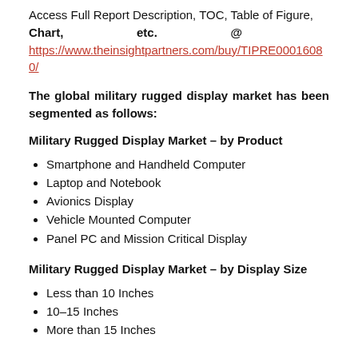Access Full Report Description, TOC, Table of Figure, Chart, etc. @ https://www.theinsightpartners.com/buy/TIPRE0001608O/
The global military rugged display market has been segmented as follows:
Military Rugged Display Market – by Product
Smartphone and Handheld Computer
Laptop and Notebook
Avionics Display
Vehicle Mounted Computer
Panel PC and Mission Critical Display
Military Rugged Display Market – by Display Size
Less than 10 Inches
10–15 Inches
More than 15 Inches